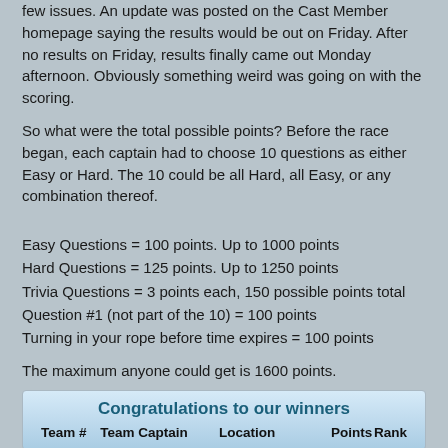few issues. An update was posted on the Cast Member homepage saying the results would be out on Friday. After no results on Friday, results finally came out Monday afternoon. Obviously something weird was going on with the scoring.
So what were the total possible points? Before the race began, each captain had to choose 10 questions as either Easy or Hard. The 10 could be all Hard, all Easy, or any combination thereof.
Easy Questions = 100 points. Up to 1000 points
Hard Questions = 125 points. Up to 1250 points
Trivia Questions = 3 points each, 150 possible points total
Question #1 (not part of the 10) = 100 points
Turning in your rope before time expires = 100 points
The maximum anyone could get is 1600 points.
Congratulations to our winners
| Team # | Team Captain | Location | Points | Rank |
| --- | --- | --- | --- | --- |